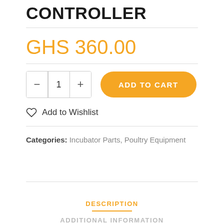CONTROLLER
GHS 360.00
- 1 + ADD TO CART
Add to Wishlist
Categories: Incubator Parts, Poultry Equipment
DESCRIPTION
ADDITIONAL INFORMATION